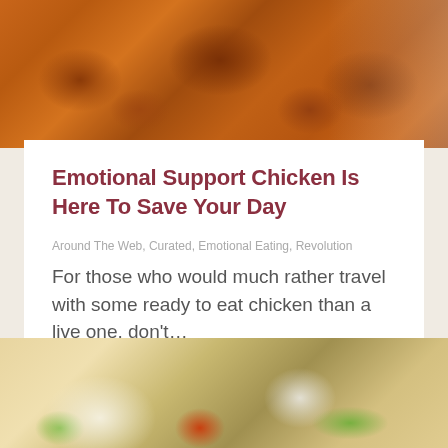[Figure (photo): Fried chicken pieces in trays on a wire rack]
Emotional Support Chicken Is Here To Save Your Day
Around The Web, Curated, Emotional Eating, Revolution
For those who would much rather travel with some ready to eat chicken than a live one, don't…
READ MORE
[Figure (photo): Fried chicken pieces with salad and dipping sauce on a plate]